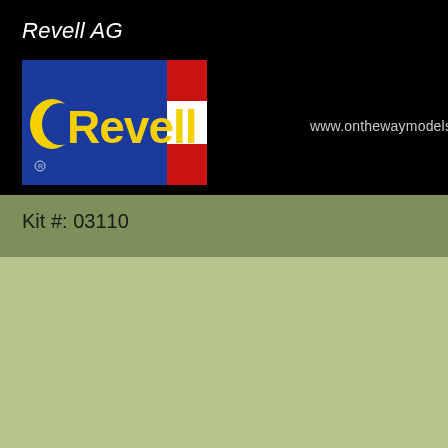Revell AG
[Figure (logo): Revell brand logo: blue rectangle with yellow 'Revell' text and red/white Austrian flag stripes on the right side]
www.onthewaymodels.com
Kit #: 03110